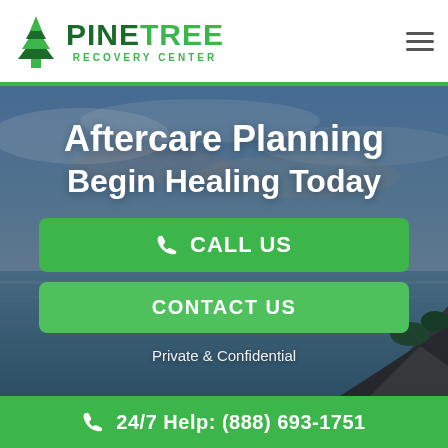[Figure (logo): Pine Tree Recovery Center logo with green pine tree icon and company name]
[Figure (photo): Coastal landscape photo with dramatic cloudy sky, ocean, and rocky cliffs used as hero background]
Aftercare Planning
Begin Healing Today
CALL US
CONTACT US
Private & Confidential
24/7 Help: (888) 693-1751